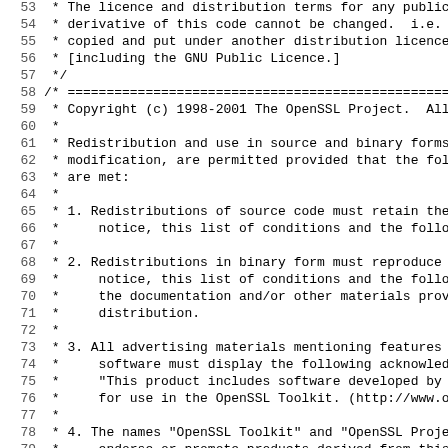Source code listing showing OpenSSL license header lines 53-85
53  * The licence and distribution terms for any publicall
54  * derivative of this code cannot be changed.  i.e. thi
55  * copied and put under another distribution licence
56  * [including the GNU Public Licence.]
57  */
58 /* ================================================
59  * Copyright (c) 1998-2001 The OpenSSL Project.  All ri
60  *
61  * Redistribution and use in source and binary forms, w
62  * modification, are permitted provided that the follow
63  * are met:
64  *
65  * 1. Redistributions of source code must retain the ab
66  *    notice, this list of conditions and the following
67  *
68  * 2. Redistributions in binary form must reproduce the
69  *    notice, this list of conditions and the following
70  *    the documentation and/or other materials provided
71  *    distribution.
72  *
73  * 3. All advertising materials mentioning features or
74  *    software must display the following acknowledgmen
75  *    "This product includes software developed by the
76  *    for use in the OpenSSL Toolkit. (http://www.opens
77  *
78  * 4. The names "OpenSSL Toolkit" and "OpenSSL Project'
79  *    endorse or promote products derived from this sof
80  *    prior written permission. For written permission,
81  *    openssl-core@openssl.org.
82  *
83  * 5. Products derived from this software may not be ca
84  *    nor may "OpenSSL" appear in their names without p
85  *    ...